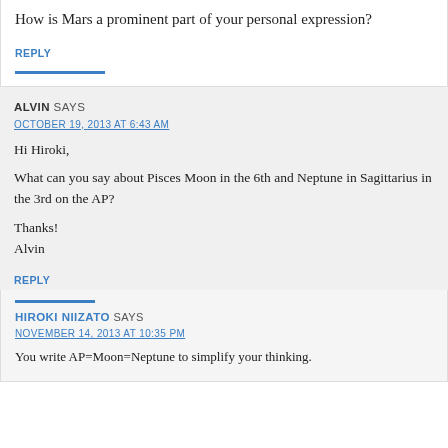How is Mars a prominent part of your personal expression?
REPLY
ALVIN SAYS
OCTOBER 19, 2013 AT 6:43 AM
Hi Hiroki,
What can you say about Pisces Moon in the 6th and Neptune in Sagittarius in the 3rd on the AP?
Thanks!
Alvin
REPLY
HIROKI NIIZATO SAYS
NOVEMBER 14, 2013 AT 10:35 PM
You write AP=Moon=Neptune to simplify your thinking.